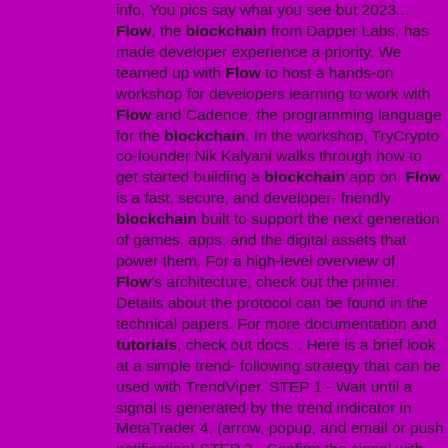info, You pics say what you see but 2023... Flow, the blockchain from Dapper Labs, has made developer experience a priority. We teamed up with Flow to host a hands-on workshop for developers learning to work with Flow and Cadence, the programming language for the blockchain. In the workshop, TryCrypto co-founder Nik Kalyani walks through how to get started building a blockchain app on. Flow is a fast, secure, and developer-friendly blockchain built to support the next generation of games, apps, and the digital assets that power them. For a high-level overview of Flow's architecture, check out the primer. Details about the protocol can be found in the technical papers. For more documentation and tutorials, check out docs. . Here is a brief look at a simple trend-following strategy that can be used with TrendViper. STEP 1 - Wait until a signal is generated by the trend indicator in MetaTrader 4. (arrow, popup, and email or push notification) STEP 2 - Confirm the signal with the ADX Trend Power bar in the visual display section. Metatrader 5 Python Api Come see why our cryptocurrency exchange is the best place. Release Date. Oct 27, 2020. Flow price today is $ 1.72 with a 24-hour trading volume of $ 72.07M, market cap of $ 1.79B, and market dominance of 0.19%. The FLOW ... How can Blockchain and Bitcoin help?. The trusted gateway to your digital world. Dapper is the. How Blockchain technology could be used to facilitate intellectual property